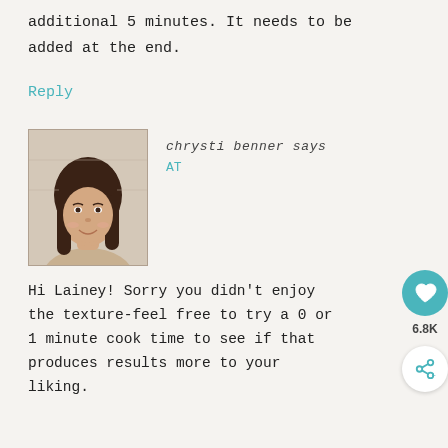additional 5 minutes. It needs to be added at the end.
Reply
[Figure (photo): Portrait photo of a woman with long dark hair, smiling, against a light background.]
chrysti benner says
AT
Hi Lainey! Sorry you didn't enjoy the texture-feel free to try a 0 or 1 minute cook time to see if that produces results more to your liking.